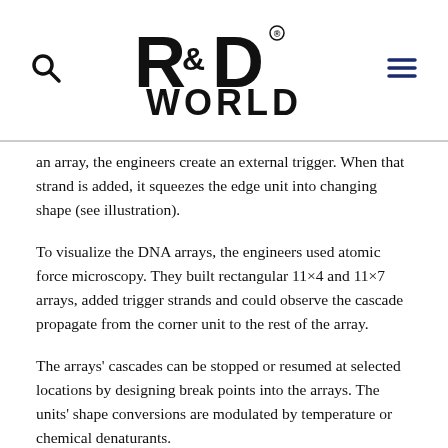R&D WORLD
an array, the engineers create an external trigger. When that strand is added, it squeezes the edge unit into changing shape (see illustration).
To visualize the DNA arrays, the engineers used atomic force microscopy. They built rectangular 11×4 and 11×7 arrays, added trigger strands and could observe the cascade propagate from the corner unit to the rest of the array.
The arrays' cascades can be stopped or resumed at selected locations by designing break points into the arrays. The units' shape conversions are modulated by temperature or chemical denaturants.
For reference, the rectangular arrays are around 50 nanometers wide and a few hundred nanometers long – slightly smaller than a